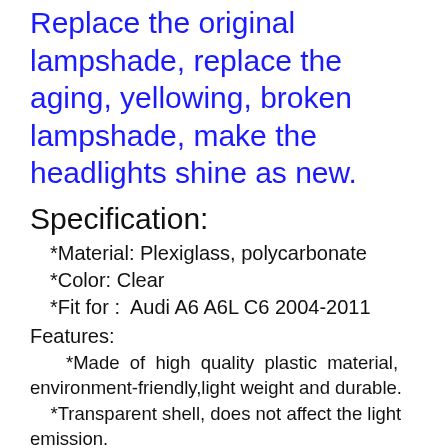Replace the original lampshade, replace the aging, yellowing, broken lampshade, make the headlights shine as new.
Specification:
*Material: Plexiglass, polycarbonate
*Color: Clear
*Fit for :  Audi A6 A6L C6 2004-2011
Features:
*Made of high quality plastic material, environment-friendly,light weight and durable.
*Transparent shell, does not affect the light emission.
*Protect your headlight of your car from